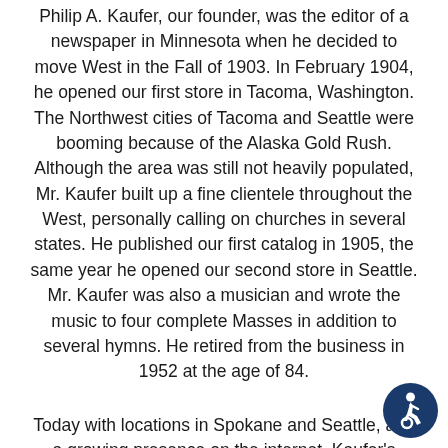Philip A. Kaufer, our founder, was the editor of a newspaper in Minnesota when he decided to move West in the Fall of 1903. In February 1904, he opened our first store in Tacoma, Washington. The Northwest cities of Tacoma and Seattle were booming because of the Alaska Gold Rush. Although the area was still not heavily populated, Mr. Kaufer built up a fine clientele throughout the West, personally calling on churches in several states. He published our first catalog in 1905, the same year he opened our second store in Seattle. Mr. Kaufer was also a musician and wrote the music to four complete Masses in addition to several hymns. He retired from the business in 1952 at the age of 84.
Today with locations in Spokane and Seattle, and a growing presence on the internet, Kaufer's maintains its family roots with a fourth generation of owners and managers. A 5th generation is already in training. Though originally a supplier of so Catholic books and supplies, Kaufer's has expanded to include
[Figure (illustration): Accessibility icon — circular dark blue button with a white wheelchair/person symbol]